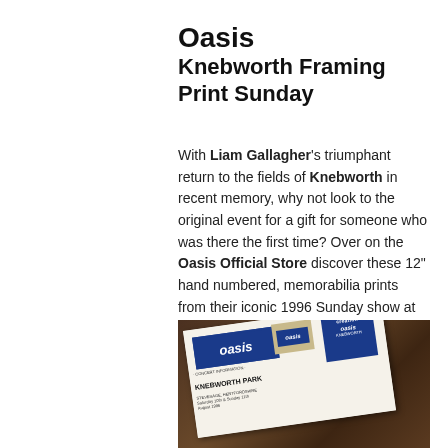Oasis
Knebworth Framing Print Sunday
With Liam Gallagher's triumphant return to the fields of Knebworth in recent memory, why not look to the original event for a gift for someone who was there the first time? Over on the Oasis Official Store discover these 12" hand numbered, memorabilia prints from their iconic 1996 Sunday show at Knebworth.
[Figure (photo): Photo of an Oasis Knebworth concert memorabilia print showing the program/ticket with the Oasis logo, Creation Records branding, and Knebworth Park concert information, placed on a dark wood surface.]